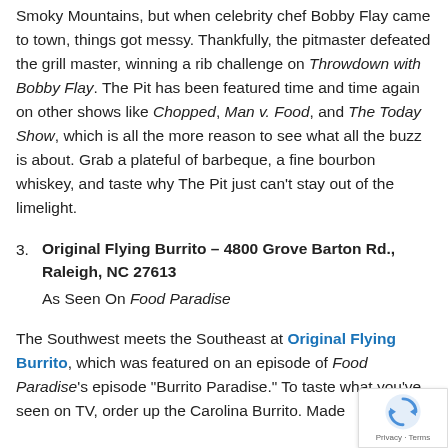Smoky Mountains, but when celebrity chef Bobby Flay came to town, things got messy. Thankfully, the pitmaster defeated the grill master, winning a rib challenge on Throwdown with Bobby Flay. The Pit has been featured time and time again on other shows like Chopped, Man v. Food, and The Today Show, which is all the more reason to see what all the buzz is about. Grab a plateful of barbeque, a fine bourbon whiskey, and taste why The Pit just can't stay out of the limelight.
Original Flying Burrito – 4800 Grove Barton Rd., Raleigh, NC 27613
As Seen On Food Paradise
The Southwest meets the Southeast at Original Flying Burrito, which was featured on an episode of Food Paradise's episode "Burrito Paradise." To taste what you've seen on TV, order up the Carolina Burrito. Made